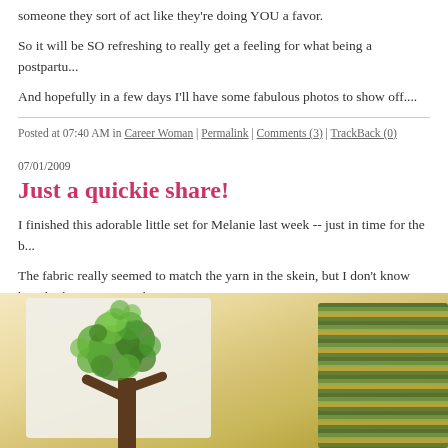someone they sort of act like they're doing YOU a favor.
So it will be SO refreshing to really get a feeling for what being a postpartu...
And hopefully in a few days I'll have some fabulous photos to show off....
Posted at 07:40 AM in Career Woman | Permalink | Comments (3) | TrackBack (0)
07/01/2009
Just a quickie share!
I finished this adorable little set for Melanie last week -- just in time for the b...
The fabric really seemed to match the yarn in the skein, but I don't know ho... both cute separately anyway!
Pattern is Perfection Pants, Yarn is Carys BFL in Aiden from Three Irish Gi... BFL?? scratchier than I expected) - Channel Island Cast On, first time tryin... creates! T shirt is Organic cotton from Dharma Trading - so soft!
[Figure (photo): Photo of a white T-shirt with a green tree design and colorful knitted pants/item on a beige background]